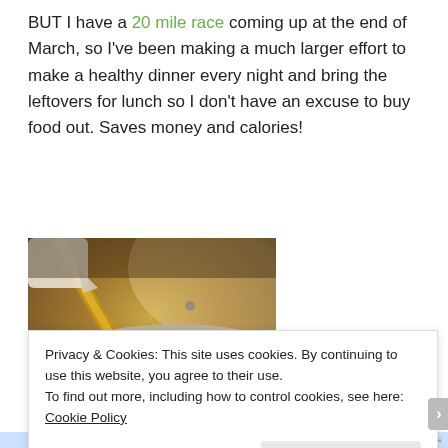BUT I have a 20 mile race coming up at the end of March, so I've been making a much larger effort to make a healthy dinner every night and bring the leftovers for lunch so I don't have an excuse to buy food out. Saves money and calories!
[Figure (photo): Photo of liquid being poured from a container into a stainless steel pan containing chopped or shredded food ingredients, with a wooden utensil visible]
Privacy & Cookies: This site uses cookies. By continuing to use this website, you agree to their use.
To find out more, including how to control cookies, see here: Cookie Policy